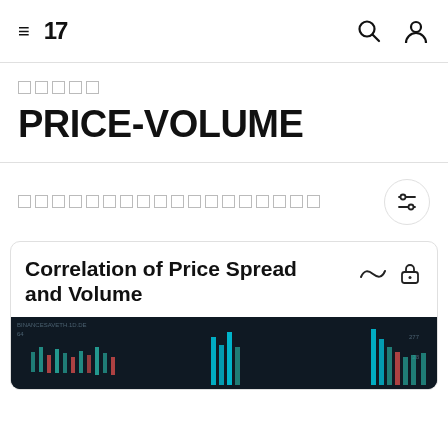≡  17  🔍  👤
█████
PRICE-VOLUME
████████████████████
Correlation of Price Spread and Volume
[Figure (screenshot): Dark background trading chart preview showing candlestick/bar chart with cyan colored volume bars]